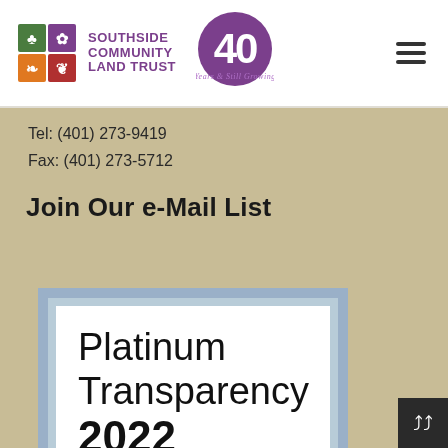[Figure (logo): Southside Community Land Trust logo with four colored tiles (green, purple, orange, red) and organization name in purple text, plus a circular '40 Years & Still Growing' anniversary badge]
Tel: (401) 273-9419
Fax: (401) 273-5712
Join Our e-Mail List
[Figure (infographic): Platinum Transparency 2022 badge with light blue border framing a white rectangle containing text 'Platinum Transparency 2022']